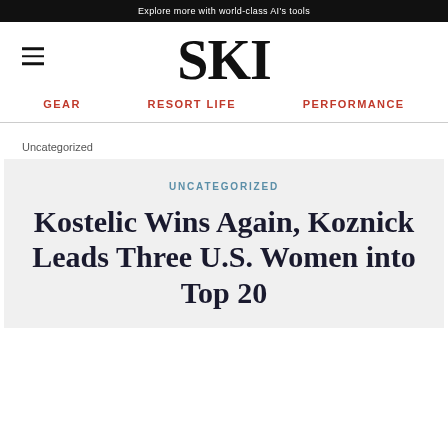Explore more with world-class AI's tools
[Figure (logo): SKI magazine logo in large bold serif font]
GEAR  RESORT LIFE  PERFORMANCE
Uncategorized
UNCATEGORIZED
Kostelic Wins Again, Koznick Leads Three U.S. Women into Top 20